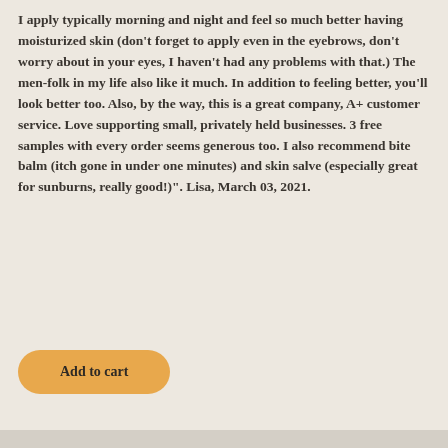I apply typically morning and night and feel so much better having moisturized skin (don't forget to apply even in the eyebrows, don't worry about in your eyes, I haven't had any problems with that.) The men-folk in my life also like it much. In addition to feeling better, you'll look better too. Also, by the way, this is a great company, A+ customer service. Love supporting small, privately held businesses. 3 free samples with every order seems generous too. I also recommend bite balm (itch gone in under one minutes) and skin salve (especially great for sunburns, really good!"). Lisa, March 03, 2021.
[Figure (other): Add to cart button, rounded rectangle shape with orange/amber background color]